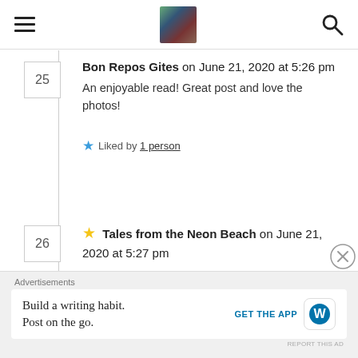Navigation bar with hamburger menu, site logo image, and search icon
Bon Repos Gites on June 21, 2020 at 5:26 pm
An enjoyable read! Great post and love the photos!
Liked by 1 person
Tales from the Neon Beach on June 21, 2020 at 5:27 pm
Thanks for the comments. I need more adventures soon.
Liked by 1 person
Advertisements
Build a writing habit. Post on the go.
GET THE APP